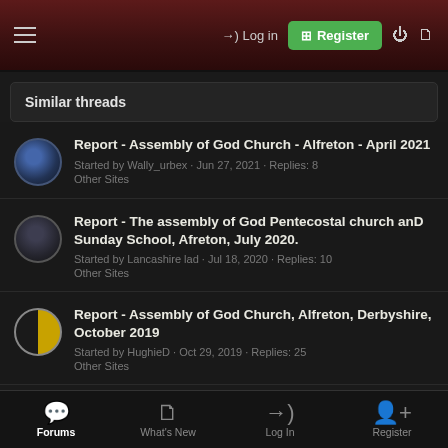Log in | Register
Similar threads
Report - Assembly of God Church - Alfreton - April 2021
Started by Wally_urbex · Jun 27, 2021 · Replies: 8
Other Sites
Report - The assembly of God Pentecostal church anD Sunday School, Afreton, July 2020.
Started by Lancashire lad · Jul 18, 2020 · Replies: 10
Other Sites
Report - Assembly of God Church, Alfreton, Derbyshire, October 2019
Started by HughieD · Oct 29, 2019 · Replies: 25
Other Sites
Forums | What's New | Log In | Register